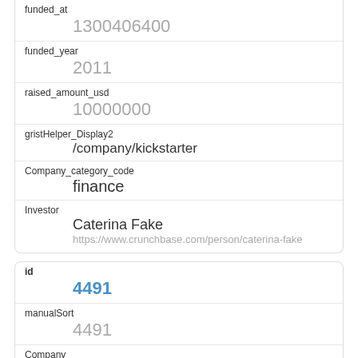| funded_at | 1300406400 |
| funded_year | 2011 |
| raised_amount_usd | 10000000 |
| gristHelper_Display2 | /company/kickstarter |
| Company_category_code | finance |
| Investor | Caterina Fake
https://www.crunchbase.com/person/caterina-fake |
| id | 4491 |
| manualSort | 4491 |
| Company | 1043 |
| investor_permalink |  |